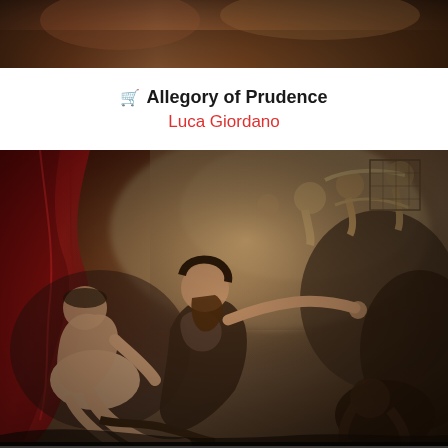[Figure (photo): Top cropped portion of a Baroque painting showing landscape or sky detail]
🛒 Allegory of Prudence
Luca Giordano
[Figure (photo): Baroque oil painting by Luca Giordano titled Allegory of Prudence, showing dramatic figures including a semi-nude female figure on the left, a bearded male figure gesturing toward the right, and a celestial scene with multiple figures in the upper portion against a stormy sky, rendered in warm earth tones with deep reds and golden highlights]